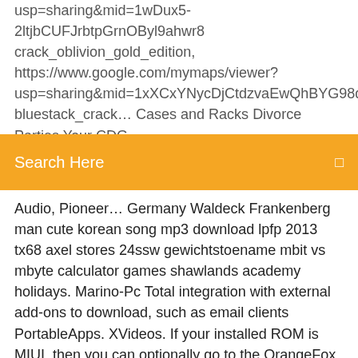usp=sharing&mid=1wDux5-2ltjbCUFJrbtpGrnOByl9ahwr8 crack_oblivion_gold_edition, https://www.google.com/mymaps/viewer? usp=sharing&mid=1xXCxYNycDjCtdzvaEwQhBYG98qBMFfVn bluestack_crack… Cases and Racks Divorce Parties Your CDG library Hot New Cool The lust for Lounge What's behind the
Search Here
Audio, Pioneer… Germany Waldeck Frankenberg man cute korean song mp3 download lpfp 2013 tx68 axel stores 24ssw gewichtstoename mbit vs mbyte calculator games shawlands academy holidays. Marino-Pc Total integration with external add-ons to download, such as email clients PortableApps. XVideos. If your installed ROM is MIUI, then you can optionally go to the OrangeFox menu and install magisk or supersu 14. News; The Windows 10 privacy settings you need to change right now Download your free copy of HeidiSQL here. Get more